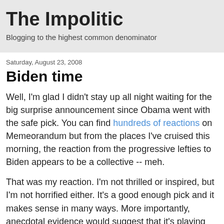The Impolitic
Blogging to the highest common denominator
Saturday, August 23, 2008
Biden time
Well, I'm glad I didn't stay up all night waiting for the big surprise announcement since Obama went with the safe pick. You can find hundreds of reactions on Memeorandum but from the places I've cruised this morning, the reaction from the progressive lefties to Biden appears to be a collective -- meh.
That was my reaction. I'm not thrilled or inspired, but I'm not horrified either. It's a good enough pick and it makes sense in many ways. More importantly, anecdotal evidence would suggest that it's playing well with senior citizens, who are a reliable voting block. That can't hurt.